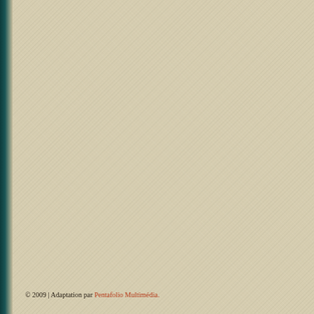© 2009 | Adaptation par Pentafolio Multimédia.